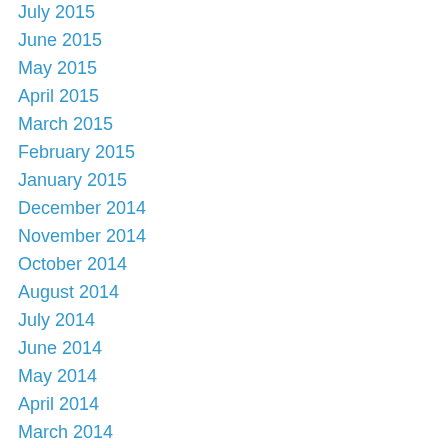July 2015
June 2015
May 2015
April 2015
March 2015
February 2015
January 2015
December 2014
November 2014
October 2014
August 2014
July 2014
June 2014
May 2014
April 2014
March 2014
February 2014
January 2014
December 2013